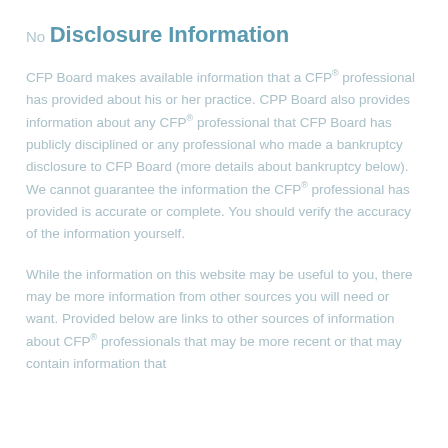No
Disclosure Information
CFP Board makes available information that a CFP® professional has provided about his or her practice. CPP Board also provides information about any CFP® professional that CFP Board has publicly disciplined or any professional who made a bankruptcy disclosure to CFP Board (more details about bankruptcy below). We cannot guarantee the information the CFP® professional has provided is accurate or complete. You should verify the accuracy of the information yourself.
While the information on this website may be useful to you, there may be more information from other sources you will need or want. Provided below are links to other sources of information about CFP® professionals that may be more recent or that may contain information that...